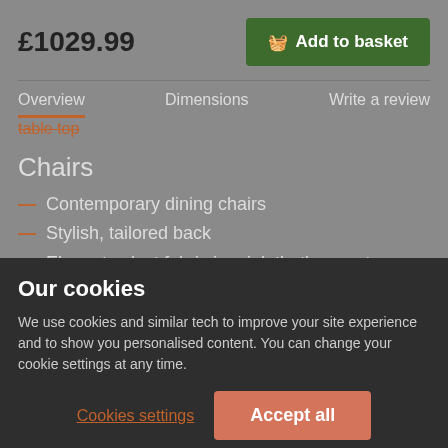£1029.99
Add to basket
Overview   Dimensions   Write a review
table top
Chairs
Contemporary dining chairs
Stylish, tailored back
Elegant velvet fabric in mink that's easy to care for and
Our cookies
We use cookies and similar tech to improve your site experience and to show you personalised content. You can change your cookie settings at any time.
Cookies settings
Accept all